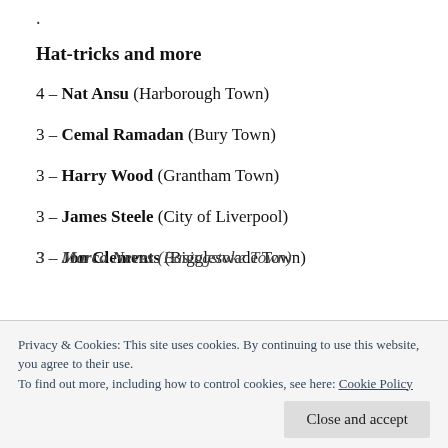.
Hat-tricks and more
4 – Nat Ansu (Harborough Town)
3 – Cemal Ramadan (Bury Town)
3 – Harry Wood (Grantham Town)
3 – James Steele (City of Liverpool)
3 – Jon Clements (Biggleswade Town)
Privacy & Cookies: This site uses cookies. By continuing to use this website, you agree to their use.
To find out more, including how to control cookies, see here: Cookie Policy
3 – Marco Neves (Basingstoke Town)